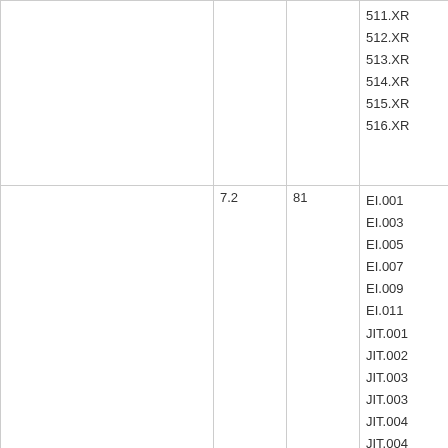|  |  |  |  |
| --- | --- | --- | --- |
|  |  |  | 511.XR
512.XR
513.XR
514.XR
515.XR
516.XR |
|  | 7.2 | 81 | EI.001
EI.003
EI.005
EI.007
EI.009
EI.011
JIT.001
JIT.002
JIT.003
JIT.003
JIT.004
JIT.004 |